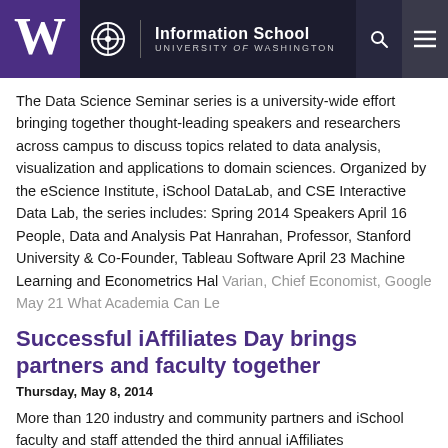Information School — University of Washington
The Data Science Seminar series is a university-wide effort bringing together thought-leading speakers and researchers across campus to discuss topics related to data analysis, visualization and applications to domain sciences. Organized by the eScience Institute, iSchool DataLab, and CSE Interactive Data Lab, the series includes: Spring 2014 Speakers April 16 People, Data and Analysis Pat Hanrahan, Professor, Stanford University & Co-Founder, Tableau Software April 23 Machine Learning and Econometrics Hal Varian, Chief Economist, Google May 21 What Academia Can Le
Successful iAffiliates Day brings partners and faculty together
Thursday, May 8, 2014
More than 120 industry and community partners and iSchool faculty and staff attended the third annual iAffiliates